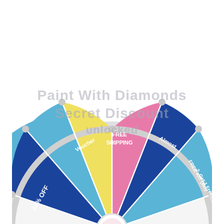[Figure (infographic): Bottom half of a prize spin wheel showing colored segments: blue (30% OFF), light blue, yellow (Secret Discount/Voucher), pink (FREE SHIPPING), dark blue (Almost), dark blue (FREE KIT Buy 2 Get 1 Free). Watermark text reads 'Paint With Diamonds Secret Discount unlocked' overlaid on the wheel.]